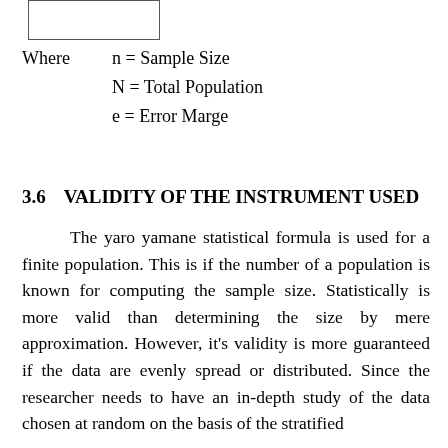[Figure (other): A rectangular box representing a formula placeholder at the top of the page]
Where    n = Sample Size
         N = Total Population
         e = Error Marge
3.6    VALIDITY OF THE INSTRUMENT USED
The yaro yamane statistical formula is used for a finite population. This is if the number of a population is known for computing the sample size. Statistically is more valid than determining the size by mere approximation. However, it's validity is more guaranteed if the data are evenly spread or distributed. Since the researcher needs to have an in-depth study of the data chosen at random on the basis of the stratified